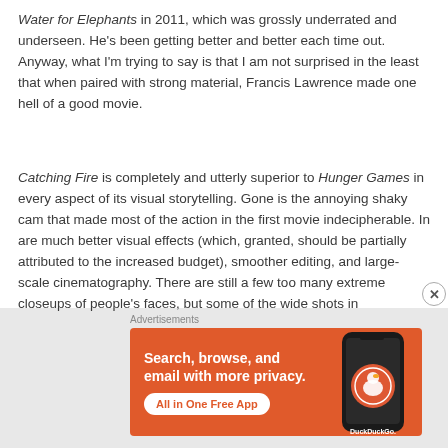Water for Elephants in 2011, which was grossly underrated and underseen. He's been getting better and better each time out. Anyway, what I'm trying to say is that I am not surprised in the least that when paired with strong material, Francis Lawrence made one hell of a good movie.
Catching Fire is completely and utterly superior to Hunger Games in every aspect of its visual storytelling. Gone is the annoying shaky cam that made most of the action in the first movie indecipherable. In are much better visual effects (which, granted, should be partially attributed to the increased budget), smoother editing, and large-scale cinematography. There are still a few too many extreme closeups of people's faces, but some of the wide shots in
Advertisements
[Figure (infographic): DuckDuckGo advertisement banner with orange background. Text reads 'Search, browse, and email with more privacy.' with 'All in One Free App' button. Shows a smartphone with DuckDuckGo logo.]